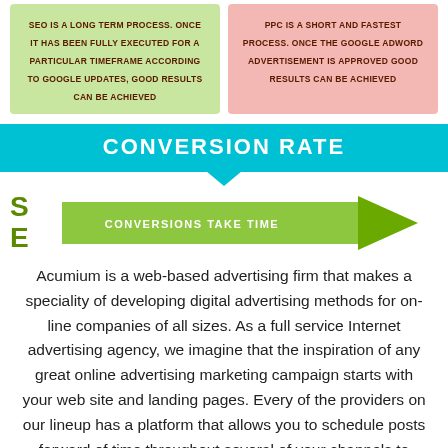SEO IS A LONG TERM PROCESS. ONCE IT HAS BEEN FULLY EXECUTED FOR A PARTICULAR TIMEFRAME ACCORDING TO GOOGLE UPDATES, GOOD RESULTS CAN BE ACHIEVED
PPC IS A SHORT AND FASTEST PROCESS. ONCE THE GOOGLE ADWORD ADVERTISEMENT IS APPROVED GOOD RESULTS CAN BE ACHIEVED
CONVERSION RATE
[Figure (infographic): Green arrow pointing right with text CONVERSIONS TAKE TIME, with S and E labels on left side]
Acumium is a web-based advertising firm that makes a speciality of developing digital advertising methods for on-line companies of all sizes. As a full service Internet advertising agency, we imagine that the inspiration of any great online advertising marketing campaign starts with your web site and landing pages. Every of the providers on our lineup has a platform that allows you to schedule posts forward of time throughout several of your channels to foster interplay with your clients.